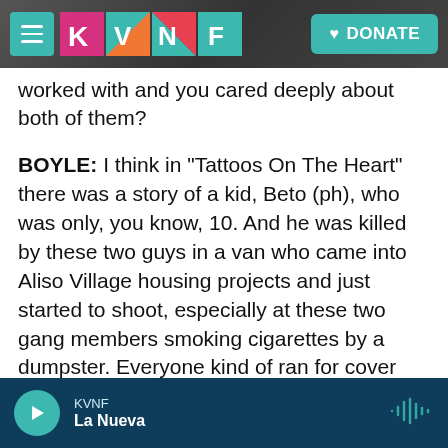KVNF - DONATE
...worked with and you cared deeply about both of them?
BOYLE: I think in "Tattoos On The Heart" there was a story of a kid, Beto (ph), who was only, you know, 10. And he was killed by these two guys in a van who came into Aliso Village housing projects and just started to shoot, especially at these two gang members smoking cigarettes by a dumpster. Everyone kind of ran for cover 'cause in those days this was part of the air you breathed. But this kid, Betito (ph), who was only 10, just froze and for some reason he didn't run for cover and really high...
KVNF | La Nueva